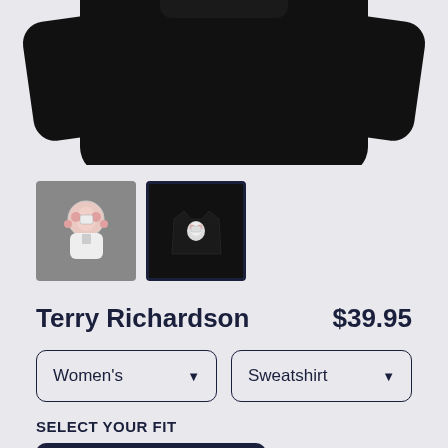[Figure (photo): Top portion of a black crewneck sweatshirt shown against a light gray background, cropped at the bottom]
[Figure (photo): Two product thumbnail images: first shows illustrated design on gray background, second (selected/active) shows the black sweatshirt with illustrated design on front]
Terry Richardson
$39.95
Women's
Sweatshirt
SELECT YOUR FIT
$39.95
French Terry